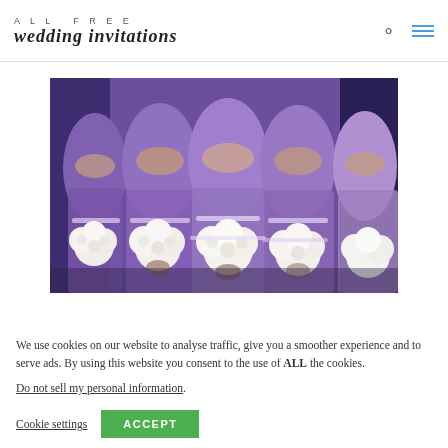ALL FREE wedding invitations
[Figure (photo): Bridesmaids in purple/lavender strapless gowns holding white bouquets, cropped at torso level, multiple women in a row]
We use cookies on our website to analyse traffic, give you a smoother experience and to serve ads. By using this website you consent to the use of ALL the cookies.
Do not sell my personal information.
Cookie settings   ACCEPT